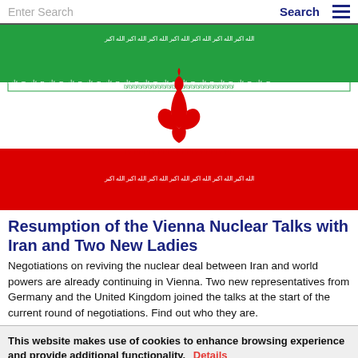Enter Search | Search
[Figure (illustration): Iranian national flag showing three horizontal bands of green, white, and red with the red Emblem of Iran centered on the white band, and stylized Takbir script along the green-white and white-red borders.]
Resumption of the Vienna Nuclear Talks with Iran and Two New Ladies
Negotiations on reviving the nuclear deal between Iran and world powers are already continuing in Vienna. Two new representatives from Germany and the United Kingdom joined the talks at the start of the current round of negotiations. Find out who they are.
This website makes use of cookies to enhance browsing experience and provide additional functionality. Details
Allow cookies